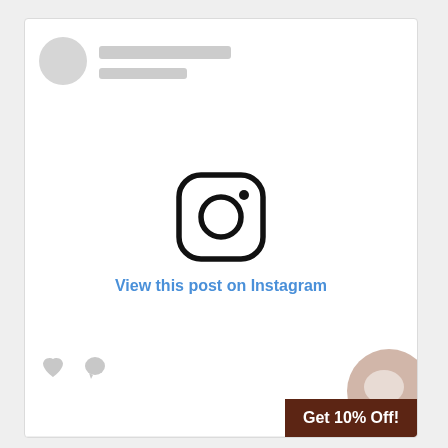[Figure (screenshot): Instagram post embed placeholder card with avatar placeholder, Instagram camera icon, 'View this post on Instagram' link text in blue, heart and comment icons at bottom, chat bubble widget in bottom-right corner, and 'Get 10% Off!' brown promo bar in bottom-right.]
View this post on Instagram
Get 10% Off!